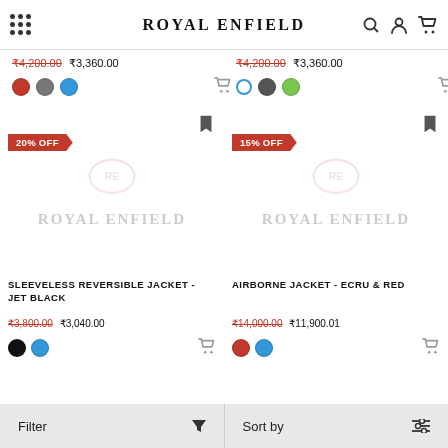Royal Enfield
₹4,200.00 ₹3,360.00 (left product top price)
₹4,200.00 ₹3,360.00 (right product top price)
[Figure (screenshot): Product card: 20% OFF badge, Royal Enfield logo watermark, Sleeveless Reversible Jacket - Jet Black, ₹3,800.00 ₹3,040.00, black and blue color swatches]
SLEEVELESS REVERSIBLE JACKET - JET BLACK
₹3,800.00 ₹3,040.00
[Figure (screenshot): Product card: 15% OFF badge, Royal Enfield logo watermark, Airborne Jacket - Ecru & Red, ₹14,000.00 ₹11,900.01, red and blue color swatches]
AIRBORNE JACKET - ECRU & RED
₹14,000.00 ₹11,900.01
Filter   Sort by